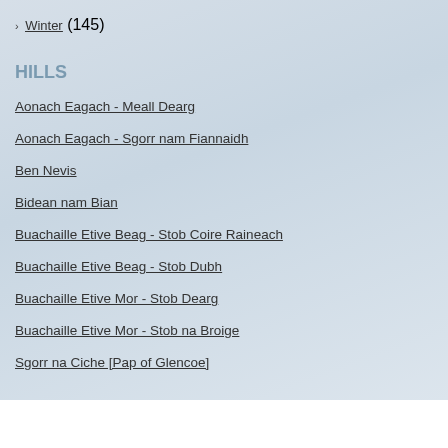› Winter (145)
HILLS
Aonach Eagach - Meall Dearg
Aonach Eagach - Sgorr nam Fiannaidh
Ben Nevis
Bidean nam Bian
Buachaille Etive Beag - Stob Coire Raineach
Buachaille Etive Beag - Stob Dubh
Buachaille Etive Mor - Stob Dearg
Buachaille Etive Mor - Stob na Broige
Sgorr na Ciche [Pap of Glencoe]